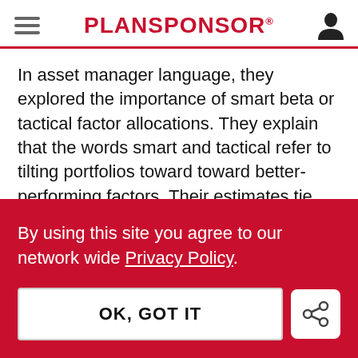PLANSPONSOR
In asset manager language, they explored the importance of smart beta or tactical factor allocations. They explain that the words smart and tactical refer to tilting portfolios toward toward better-performing factors. Their estimates tie positive performance directly to smart beta investing. They document that
By using this site you agree to our network wide Privacy Policy.
OK, GOT IT